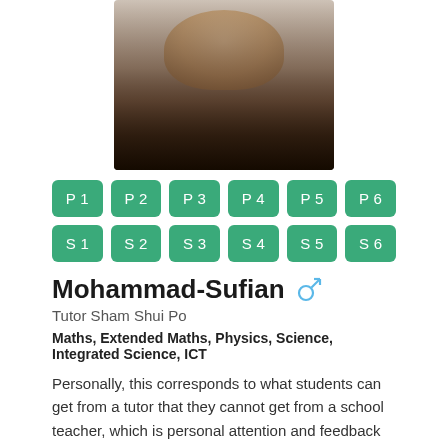[Figure (photo): Profile photo of Mohammad-Sufian, a young man with dark hair and beard, wearing a dark jacket]
P1 P2 P3 P4 P5 P6
S1 S2 S3 S4 S5 S6
Mohammad-Sufian
Tutor Sham Shui Po
Maths, Extended Maths, Physics, Science, Integrated Science, ICT
Personally, this corresponds to what students can get from a tutor that they cannot get from a school teacher, which is personal attention and feedback on their learning progress. The most important thing a tutor can do for a student is to tailor make their learning experience and teach the student at their own pace and understanding. Otherwise...